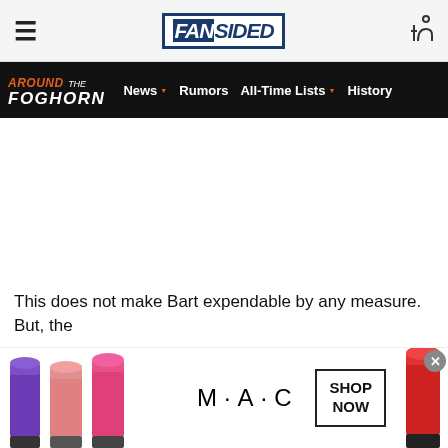FanSided
AROUND THE FOGHORN — News | Rumors | All-Time Lists | History
This does not make Bart expendable by any measure. But, the
[Figure (photo): MAC Cosmetics advertisement banner showing colorful lipsticks, MAC logo, and SHOP NOW button]